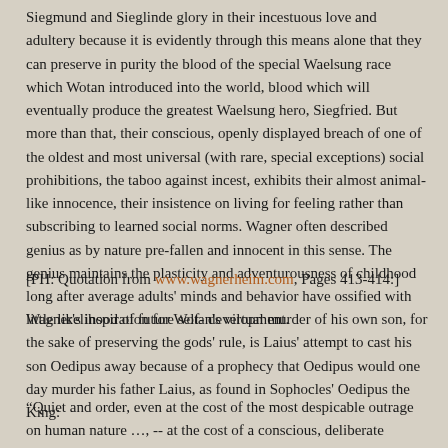Siegmund and Sieglinde glory in their incestuous love and adultery because it is evidently through this means alone that they can preserve in purity the blood of the special Waelsung race which Wotan introduced into the world, blood which will eventually produce the greatest Waelsung hero, Siegfried. But more than that, their conscious, openly displayed breach of one of the oldest and most universal (with rare, special exceptions) social prohibitions, the taboo against incest, exhibits their almost animal-like innocence, their insistence on living for feeling rather than subscribing to learned social norms. Wagner often described genius as by nature pre-fallen and innocent in this sense. The genius maintains the plasticity and adventurousness of childhood long after average adults' minds and behavior have ossified with little likelihood of future self-development.
[PH: Quotation from www.wagnerheim.com, Pages 413-414:]
Wagner's inspiration for Wotan's virtual murder of his own son, for the sake of preserving the gods' rule, is Laius' attempt to cast his son Oedipus away because of a prophecy that Oedipus would one day murder his father Laius, as found in Sophocles' Oedipus the King:
“Quiet and order, even at the cost of the most despicable outrage on human nature …, -- at the cost of a conscious, deliberate murder of a child [Oedipus] by its own father [Laius], perpetrated by the agent of the dwarf